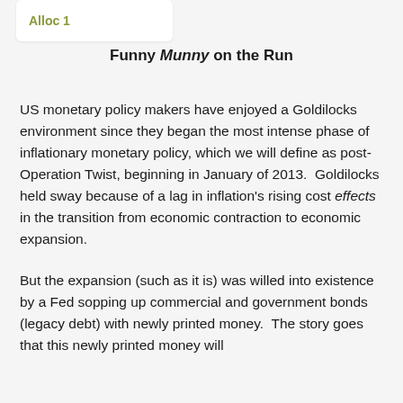Alloc 1
Funny Munny on the Run
US monetary policy makers have enjoyed a Goldilocks environment since they began the most intense phase of inflationary monetary policy, which we will define as post-Operation Twist, beginning in January of 2013.  Goldilocks held sway because of a lag in inflation's rising cost effects in the transition from economic contraction to economic expansion.
But the expansion (such as it is) was willed into existence by a Fed sopping up commercial and government bonds (legacy debt) with newly printed money.  The story goes that this newly printed money will